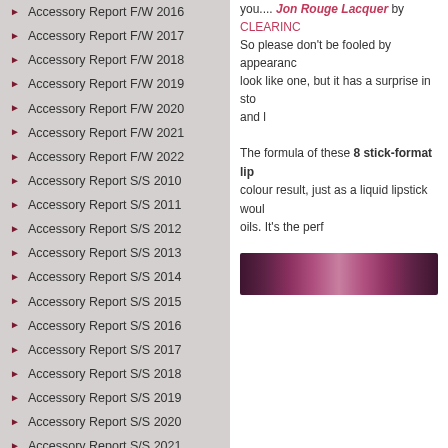Accessory Report F/W 2016
Accessory Report F/W 2017
Accessory Report F/W 2018
Accessory Report F/W 2019
Accessory Report F/W 2020
Accessory Report F/W 2021
Accessory Report F/W 2022
Accessory Report S/S 2010
Accessory Report S/S 2011
Accessory Report S/S 2012
Accessory Report S/S 2013
Accessory Report S/S 2014
Accessory Report S/S 2015
Accessory Report S/S 2016
Accessory Report S/S 2017
Accessory Report S/S 2018
Accessory Report S/S 2019
Accessory Report S/S 2020
Accessory Report S/S 2021
Accessory Report S/S 2022
Advertising Campaigns
Animals
Art
you.... Jon Rouge Lacquer by CLEARINC So please don't be fooled by appearance look like one, but it has a surprise in sto and l
The formula of these 8 stick-format lip colour result, just as a liquid lipstick woul oils. It's the perf
[Figure (photo): A horizontal lipstick swatch bar showing a gradient of dark berry/plum to mauve and back, representing the lip color product.]